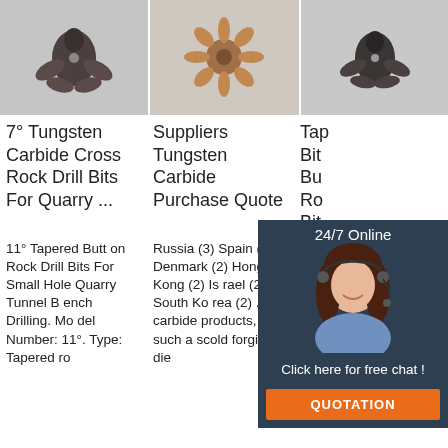[Figure (photo): Tungsten carbide cross rock drill bit, dark metal, viewed from above]
[Figure (photo): Supplier tungsten carbide drill bit, star-shaped, copper/brown color, viewed from above]
[Figure (photo): Tapered button rock drill bit, dark metal, viewed from above]
7° Tungsten Carbide Cross Rock Drill Bits For Quarry ...
Suppliers Tungsten Carbide Purchase Quote
Tapered Bits Bu Ro Bits
11° Tapered Button Rock Drill Bits For Small Hole Quarry Tunnel Bench Drilling. Model Number: 11°. Type: Tapered ro
Russia (3) Spain (3) Denmark (2) Hong Kong (2) Israel (2) South Korea (2) ... carbide products, such a scold forging die
Tapered s sm different with th ead button bit as long hole bit to use taper match with bit with rod to
[Figure (screenshot): 24/7 Online chat widget with female agent photo, 'Click here for free chat!' text, and orange QUOTATION button]
[Figure (logo): TOP logo with orange dot pattern, bottom right corner watermark]